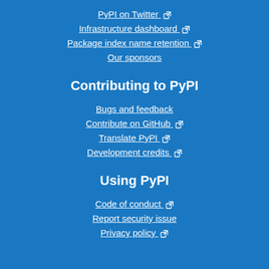PyPI on Twitter ↗
Infrastructure dashboard ↗
Package index name retention ↗
Our sponsors
Contributing to PyPI
Bugs and feedback
Contribute on GitHub ↗
Translate PyPI ↗
Development credits ↗
Using PyPI
Code of conduct ↗
Report security issue
Privacy policy ↗